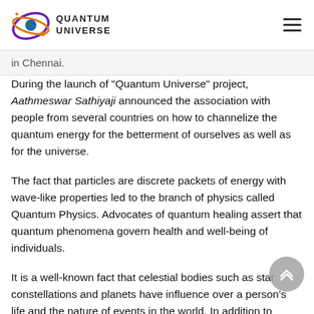QUANTUM UNIVERSE
in Chennai.
During the launch of "Quantum Universe" project, Aathmeswar Sathiyaji announced the association with people from several countries on how to channelize the quantum energy for the betterment of ourselves as well as for the universe.
The fact that particles are discrete packets of energy with wave-like properties led to the branch of physics called Quantum Physics. Advocates of quantum healing assert that quantum phenomena govern health and well-being of individuals.
It is a well-known fact that celestial bodies such as star constellations and planets have influence over a person's life and the nature of events in the world. In addition to